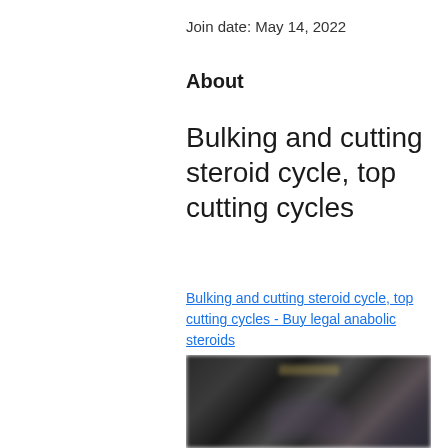Join date: May 14, 2022
About
Bulking and cutting steroid cycle, top cutting cycles
Bulking and cutting steroid cycle, top cutting cycles - Buy legal anabolic steroids
[Figure (photo): Blurred dark image, likely a product or fitness-related photo]